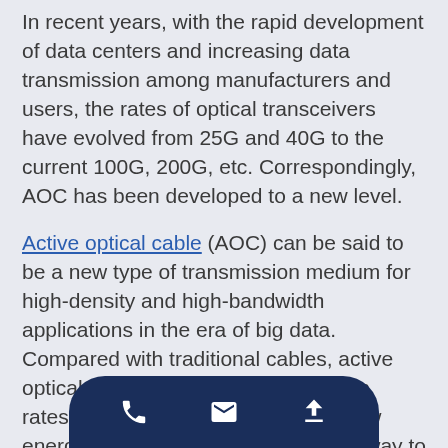In recent years, with the rapid development of data centers and increasing data transmission among manufacturers and users, the rates of optical transceivers have evolved from 25G and 40G to the current 100G, 200G, etc. Correspondingly, AOC has been developed to a new level.
Active optical cable (AOC) can be said to be a new type of transmission medium for high-density and high-bandwidth applications in the era of big data. Compared with traditional cables, active optical cables have high transmission rates, long transmission distances, low energy consumption and convenient way to use. Active optical cables benefit communication equipment with the huge advantages of optical transmission, and it is an ideal transmission cable for data centers, consum...
[Figure (other): Mobile app bottom navigation bar with phone, email, and upload icons on dark navy background]